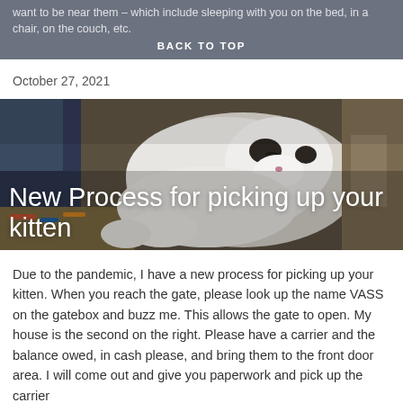want to be near them – which include sleeping with you on the bed, in a chair, on the couch, etc.
BACK TO TOP
October 27, 2021
[Figure (photo): A fluffy black and white kitten lying on a colorful blanket/surface, photographed close up. The image serves as a hero banner with white text overlay.]
New Process for picking up your kitten
Due to the pandemic, I have a new process for picking up your kitten.  When you reach the gate, please look up the name VASS on the gatebox and buzz me.  This allows the gate to open.  My house is the second on the right.  Please have a carrier and the balance owed, in cash please, and bring them to the front door area.  I will come out and give you paperwork and pick up the carrier